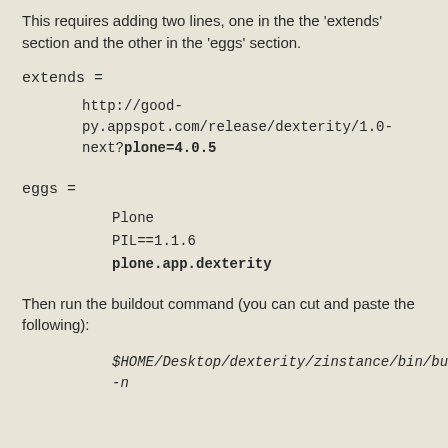This requires adding two lines, one in the the 'extends' section and the other in the 'eggs' section.
extends =
http://good-py.appspot.com/release/dexterity/1.0-next?plone=4.0.5
eggs =
Plone
PIL==1.1.6
plone.app.dexterity
Then run the buildout command (you can cut and paste the following):
$HOME/Desktop/dexterity/zinstance/bin/buildout -n